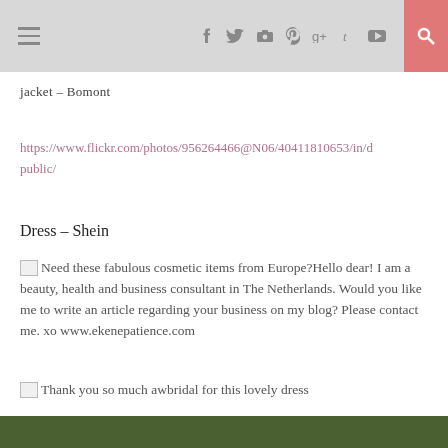jacket – Bomont [hamburger menu + social icons + search]
jacket – Bomont
https://www.flickr.com/photos/956264466@N06/40411810653/in/d public/
Dress – Shein
Need these fabulous cosmetic items from Europe?Hello dear! I am a beauty, health and business consultant in The Netherlands. Would you like me to write an article regarding your business on my blog? Please contact me. xo www.ekenepatience.com
Thank you so much awbridal for this lovely dress
[Figure (photo): Bottom edge of a photo showing dark green foliage, cropped at page bottom]